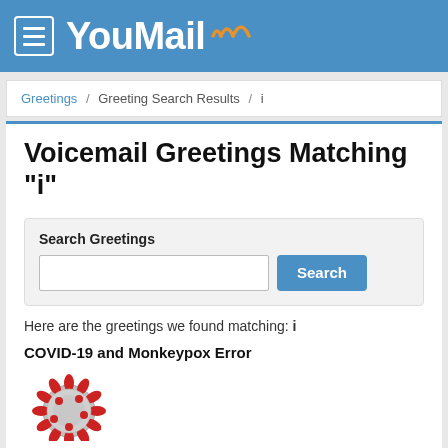YouMail
Greetings / Greeting Search Results / i
Voicemail Greetings Matching "i"
Search Greetings [input] Search
Here are the greetings we found matching: i
COVID-19 and Monkeypox Error
[Figure (photo): Red and white coronavirus/virus particle illustration]